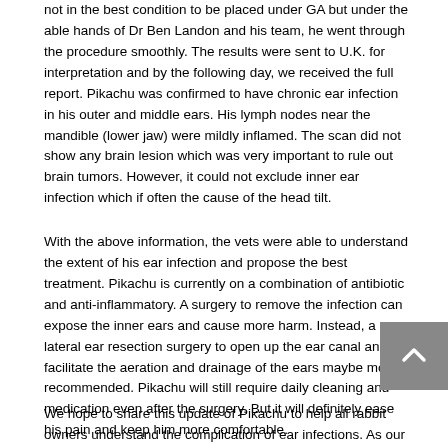not in the best condition to be placed under GA but under the able hands of Dr Ben Landon and his team, he went through the procedure smoothly. The results were sent to U.K. for interpretation and by the following day, we received the full report. Pikachu was confirmed to have chronic ear infection in his outer and middle ears. His lymph nodes near the mandible (lower jaw) were mildly inflamed. The scan did not show any brain lesion which was very important to rule out brain tumors. However, it could not exclude inner ear infection which if often the cause of the head tilt.
With the above information, the vets were able to understand the extent of his ear infection and propose the best treatment. Pikachu is currently on a combination of antibiotic and anti-inflammatory. A surgery to remove the infection can expose the inner ears and cause more harm. Instead, a lateral ear resection surgery to open up the ear canal and facilitate the aeration and drainage of the ears maybe more recommended. Pikachu will still require daily cleaning and medication even after the surgery. But it will definitely ease his pain and keep him more comfortable.
We hope to share this update of Pikachu to help all rabbit owners understand the complication of ear infections. As our rabbits have a very compact head, a simple infection in the ears, eyes, nasal or even